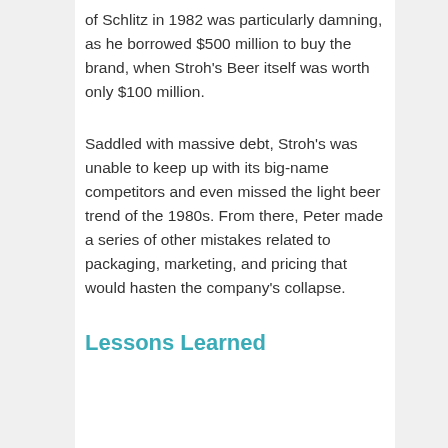of Schlitz in 1982 was particularly damning, as he borrowed $500 million to buy the brand, when Stroh's Beer itself was worth only $100 million.
Saddled with massive debt, Stroh's was unable to keep up with its big-name competitors and even missed the light beer trend of the 1980s. From there, Peter made a series of other mistakes related to packaging, marketing, and pricing that would hasten the company's collapse.
Lessons Learned